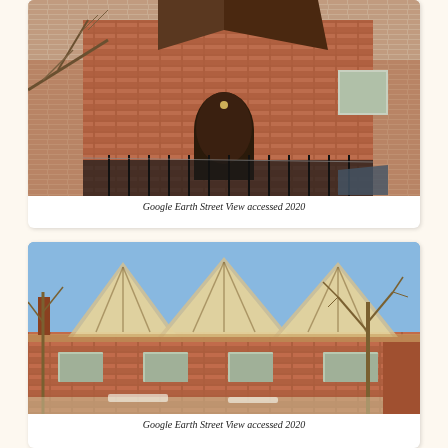[Figure (photo): Street view photograph of a red brick church building with an arched doorway, bare winter trees in the foreground, and a metal fence. Google Earth Street View accessed 2020.]
Google Earth Street View accessed 2020
[Figure (photo): Street view photograph of a red brick building with distinctive triangular peaked glass roof sections, bare winter trees, and a blue sky. Google Earth Street View accessed 2020.]
Google Earth Street View accessed 2020